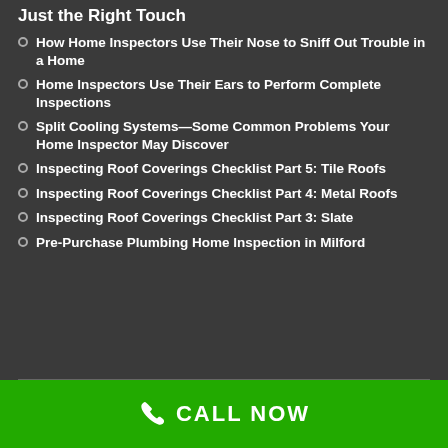Just the Right Touch
How Home Inspectors Use Their Nose to Sniff Out Trouble in a Home
Home Inspectors Use Their Ears to Perform Complete Inspections
Split Cooling Systems—Some Common Problems Your Home Inspector May Discover
Inspecting Roof Coverings Checklist Part 5: Tile Roofs
Inspecting Roof Coverings Checklist Part 4: Metal Roofs
Inspecting Roof Coverings Checklist Part 3: Slate
Pre-Purchase Plumbing Home Inspection in Milford
CALL NOW